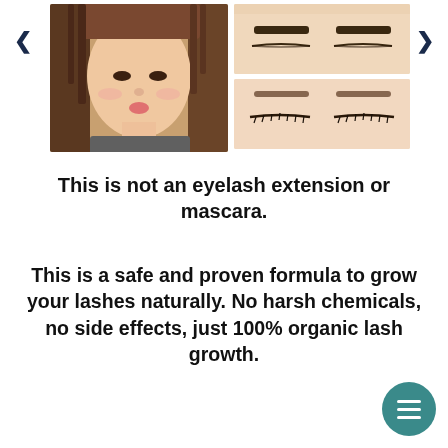[Figure (photo): Product/beauty advertisement showing a young Asian woman's face (left) and two close-up photos of closed eyes with lashes (right, stacked vertically). Navigation arrows on left and right.]
This is not an eyelash extension or mascara.
This is a safe and proven formula to grow your lashes naturally. No harsh chemicals, no side effects, just 100% organic lash growth.